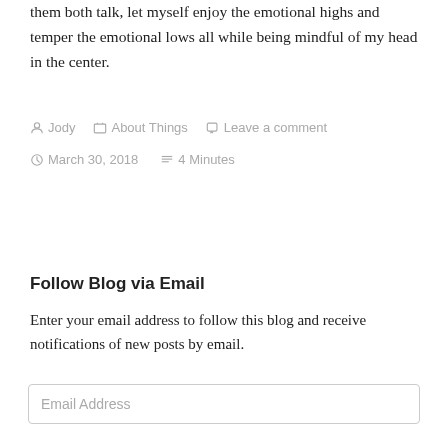them both talk, let myself enjoy the emotional highs and temper the emotional lows all while being mindful of my head in the center.
Jody   About Things   Leave a comment   March 30, 2018   4 Minutes
Follow Blog via Email
Enter your email address to follow this blog and receive notifications of new posts by email.
Email Address